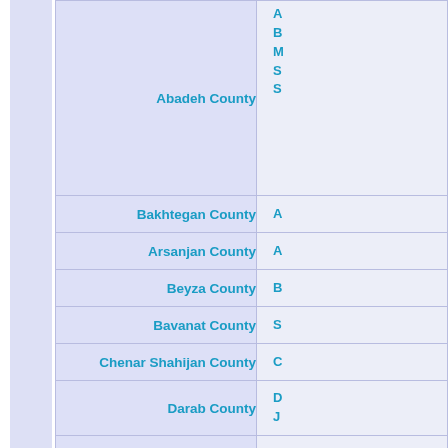| County | Districts/Cities |
| --- | --- |
| Abadeh County | • [truncated] • B... • M... • S... • S... |
| Bakhtegan County | • A... |
| Arsanjan County | • A... |
| Beyza County | • B... |
| Bavanat County | • S... |
| Chenar Shahijan County | • C... |
| Darab County | • D... • J... |
| Eqlid County | • E... • S... |
| Estahban County | • E... • M... |